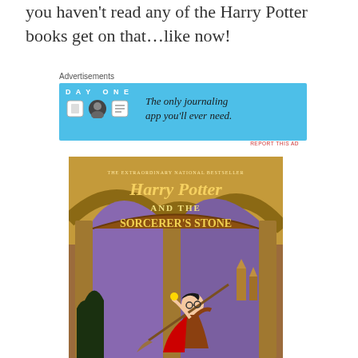you haven't read any of the Harry Potter books get on that…like now!
Advertisements
[Figure (other): Day One journaling app advertisement banner with blue background, app icons, and text 'The only journaling app you'll ever need.']
REPORT THIS AD
[Figure (photo): Harry Potter and the Sorcerer's Stone book cover showing Harry Potter riding a broomstick under arched hallways with the text 'THE EXTRAORDINARY NATIONAL BESTSELLER Harry Potter AND THE SORCERER'S STONE']